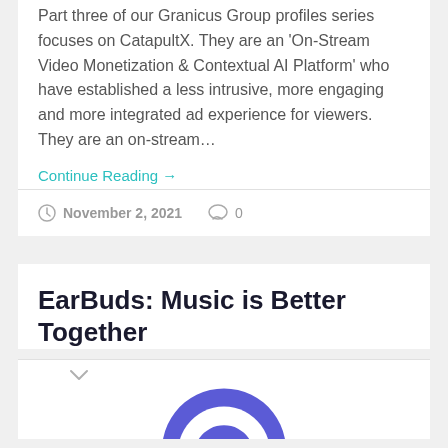Part three of our Granicus Group profiles series focuses on CatapultX. They are an 'On-Stream Video Monetization & Contextual AI Platform' who have established a less intrusive, more engaging and more integrated ad experience for viewers. They are an on-stream…
Continue Reading →
November 2, 2021   0
EarBuds: Music is Better Together
[Figure (logo): Partial blue/purple circular logo or icon at the bottom of the page]